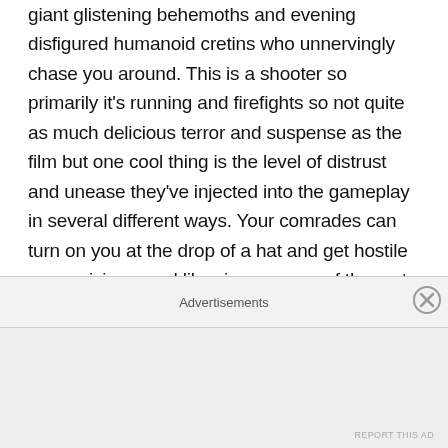giant glistening behemoths and evening disfigured humanoid cretins who unnervingly chase you around. This is a shooter so primarily it's running and firefights so not quite as much delicious terror and suspense as the film but one cool thing is the level of distrust and unease they've injected into the gameplay in several different ways. Your comrades can turn on you at the drop of a hat and get hostile or suspicious, and likewise any one of them at any given time can be revealed as one of the things and fiercely attack you, so in that sense the dread from the film carries over nicely. It's good stuff, it retains the hard, cold edge we remember from the film too and is exciting in spades. John Carpenter himself has a cameo too as a doctor and has gone on record saying this game is canon to The Thing
Advertisements
REPORT THIS AD